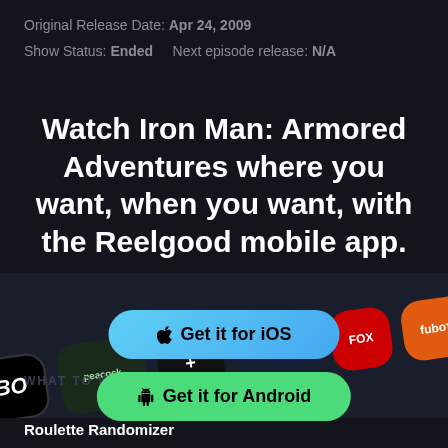Original Release Date: Apr 24, 2009
Show Status: Ended   Next episode release: N/A
Watch Iron Man: Armored Adventures where you want, when you want, with the Reelgood mobile app.
[Figure (screenshot): Streaming service app icons/tiles arranged as decorative background behind app download buttons]
Get it for iOS
Get it for Android
WHAT TO WATCH
Roulette Randomizer